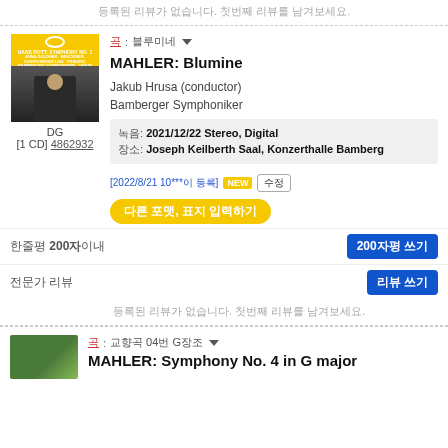등록된 리뷰가 없습니다. 첫번째 리뷰를 남겨보세요.
곡: 블루미네 ▼
MAHLER: Blumine
[Figure (photo): Album cover for Mahler Symphony No.1 on DG label, showing conductor with yellow top band and DG logo]
DG
[1 CD] 4862932
Jakub Hrusa (conductor)
Bamberger Symphoniker
녹음: 2021/12/22 Stereo, Digital
장소: Joseph Keilberth Saal, Konzerthalle Bamberg
[2022/8/21 10***이 등록] NEW 수정
다른 포맷, 표지 입력하기
한줄평 200자이내
200자평 쓰기
전문가 리뷰
리뷰 쓰기
등록된 리뷰가 없습니다. 첫번째 리뷰를 남겨보세요.
곡: 교향곡 04번 G장조 ▼
MAHLER: Symphony No. 4 in G major
[Figure (photo): Album cover with green/nature scene for Mahler Symphony No.4]